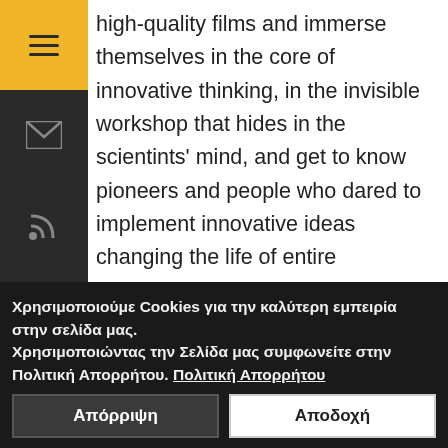high-quality films and immerse themselves in the core of innovative thinking, in the invisible workshop that hides in the scientints' mind, and get to know pioneers and people who dared to implement innovative ideas changing the life of entire societies.
[Figure (screenshot): Screenshot of a website showing a festival video thumbnail labeled 'aidff3en' with a man's face, and text beginning 'The tribute RESEARCH AND INNOVATI']
Χρησιμοποιούμε Cookies για την καλύτερη εμπειρία στην σελίδα μας.
Χρησιμοποιώντας την Σελίδα μας συμφωνείτε στην Πολιτική Απορρήτου. Πολιτική Απορρήτου
Απόρριψη | Αποδοχή